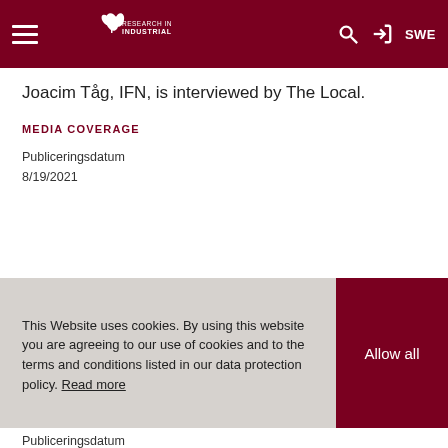Research Institute of Industrial Economics | SWE
Joacim Tåg, IFN, is interviewed by The Local.
MEDIA COVERAGE
Publiceringsdatum
8/19/2021
This Website uses cookies. By using this website you are agreeing to our use of cookies and to the terms and conditions listed in our data protection policy. Read more
Publiceringsdatum
4/9/2022